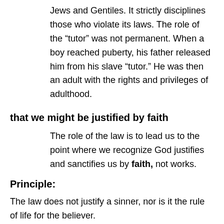Jews and Gentiles. It strictly disciplines those who violate its laws. The role of the “tutor” was not permanent. When a boy reached puberty, his father released him from his slave “tutor.” He was then an adult with the rights and privileges of adulthood.
that we might be justified by faith
The role of the law is to lead us to the point where we recognize God justifies and sanctifies us by faith, not works.
Principle:
The law does not justify a sinner, nor is it the rule of life for the believer.
Application: